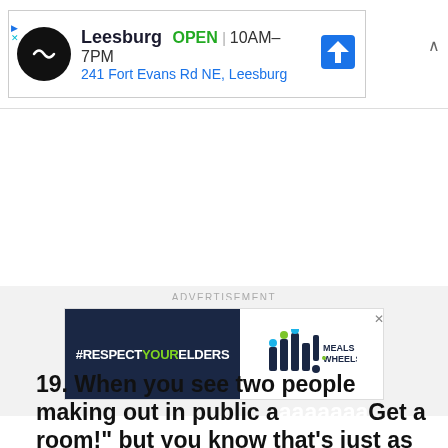[Figure (screenshot): Google Maps style ad banner showing Leesburg store: OPEN 10AM-7PM, 241 Fort Evans Rd NE, Leesburg with navigation icon]
ADVERTISEMENT
[Figure (screenshot): Meals on Wheels advertisement with #RESPECTYOURELDERS hashtag on dark blue background beside Meals on Wheels logo]
19. When you see two people making out in public and want to say "Get a room!" but you know that's just as corny
[Figure (screenshot): Pink pill-shaped button overlay reading 'Find more in the app!' with an X close button]